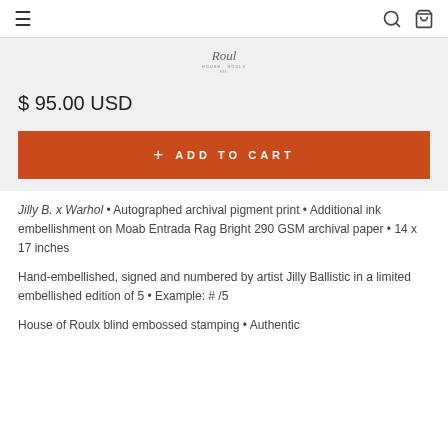≡  🔍 🛒
[Figure (logo): House of Roulx script logo with subtitle text]
$ 95.00 USD
+ ADD TO CART
Jilly B. x Warhol • Autographed archival pigment print • Additional ink embellishment on Moab Entrada Rag Bright 290 GSM archival paper • 14 x 17 inches
Hand-embellished, signed and numbered by artist Jilly Ballistic in a limited embellished edition of 5 • Example: # /5
House of Roulx blind embossed stamping • Authentic